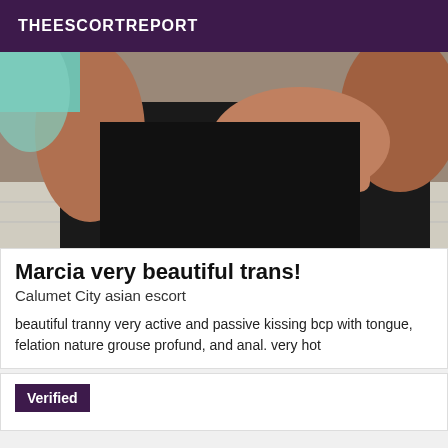THEESCORTREPORT
[Figure (photo): Close-up photo of a person wearing a black outfit, with a hand visible, taken in a bathroom/mirror selfie style]
Marcia very beautiful trans!
Calumet City asian escort
beautiful tranny very active and passive kissing bcp with tongue, felation nature grouse profund, and anal. very hot
Verified